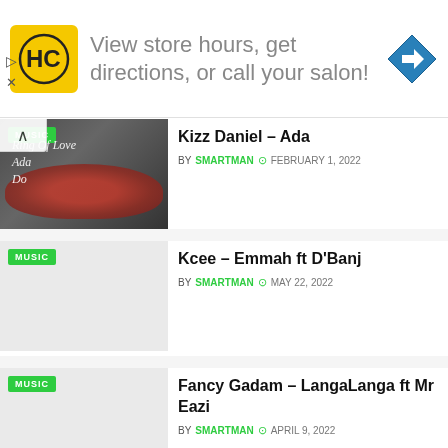[Figure (infographic): Advertisement banner: HC logo (yellow/black), text 'View store hours, get directions, or call your salon!', blue diamond navigation arrow icon]
Kizz Daniel – Ada BY SMARTMAN  FEBRUARY 1, 2022
Kcee – Emmah ft D'Banj BY SMARTMAN  MAY 22, 2022
Fancy Gadam – LangaLanga ft Mr Eazi BY SMARTMAN  APRIL 9, 2022